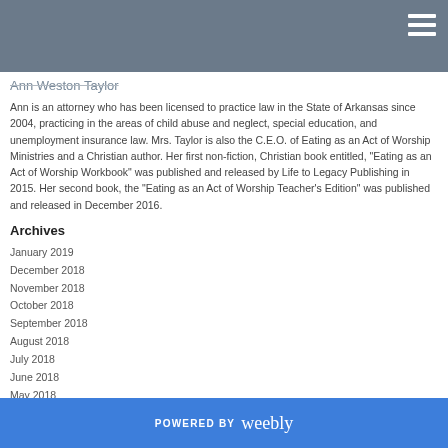Ann Weston Taylor
Ann is an attorney who has been licensed to practice law in the State of Arkansas since 2004, practicing in the areas of child abuse and neglect, special education, and unemployment insurance law. Mrs. Taylor is also the C.E.O. of Eating as an Act of Worship Ministries and a Christian author. Her first non-fiction, Christian book entitled, "Eating as an Act of Worship Workbook" was published and released by Life to Legacy Publishing in 2015. Her second book, the "Eating as an Act of Worship Teacher's Edition" was published and released in December 2016.
Archives
January 2019
December 2018
November 2018
October 2018
September 2018
August 2018
July 2018
June 2018
May 2018
April 2018
March 2018
February 2018
POWERED BY weebly